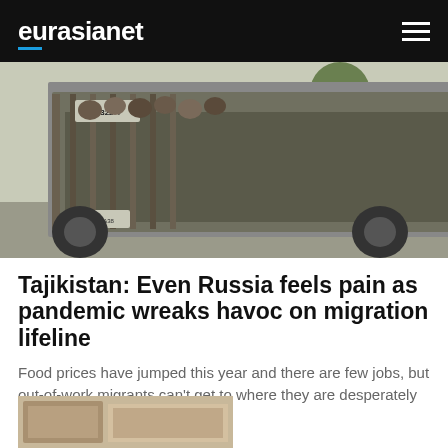eurasianet
[Figure (photo): Back of an old military-style truck with people visible through the rear, driving on a road with trees in the background. Number 5322 visible on the truck.]
Tajikistan: Even Russia feels pain as pandemic wreaks havoc on migration lifeline
Food prices have jumped this year and there are few jobs, but out-of-work migrants can't get to where they are desperately needed.
Dec 17, 2020
[Figure (photo): Partially visible photo at the bottom of the page, appears to show an interior scene.]